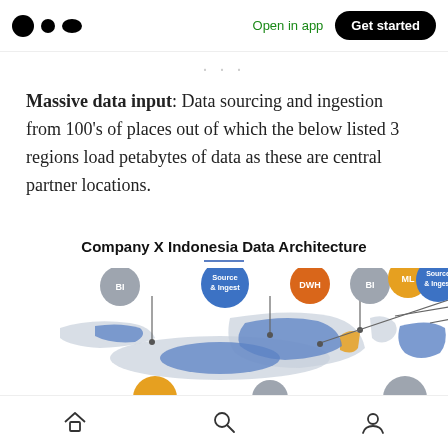Open in app  Get started
· · ·
Massive data input: Data sourcing and ingestion from 100's of places out of which the below listed 3 regions load petabytes of data as these are central partner locations.
Company X Indonesia Data Architecture
[Figure (map): Map of Indonesia showing data architecture nodes labeled BI, Source & Ingest, DWH, BI, ML, Source & Ingest positioned over different regions of Indonesia. Regions are color-coded in blue and gray.]
Home  Search  Profile